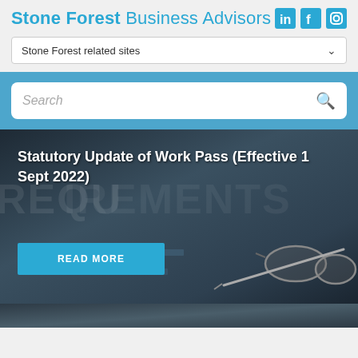Stone Forest Business Advisors
Stone Forest related sites
Search
Statutory Update of Work Pass (Effective 1 Sept 2022)
READ MORE
[Figure (photo): Dark background image showing a binder labeled REQUIREMENTS with a pen and glasses on a desk, used as hero image background]